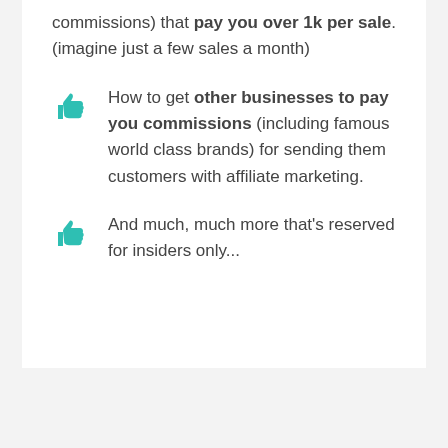commissions) that pay you over 1k per sale. (imagine just a few sales a month)
How to get other businesses to pay you commissions (including famous world class brands) for sending them customers with affiliate marketing.
And much, much more that's reserved for insiders only...